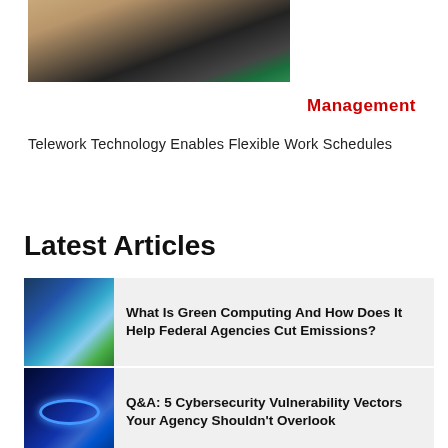[Figure (photo): Portrait photo of a woman in a dark blazer with a teal blouse, cropped at the top of the page]
Management
Telework Technology Enables Flexible Work Schedules
Latest Articles
[Figure (photo): Thumbnail image of green computing / data center with blue and green lighting]
What Is Green Computing And How Does It Help Federal Agencies Cut Emissions?
[Figure (photo): Thumbnail image of cybersecurity themed blue digital room with glowing ring]
Q&A: 5 Cybersecurity Vulnerability Vectors Your Agency Shouldn't Overlook
[Figure (photo): Thumbnail image of gold-toned building exterior or infrastructure]
Buying Season Means Careful IT